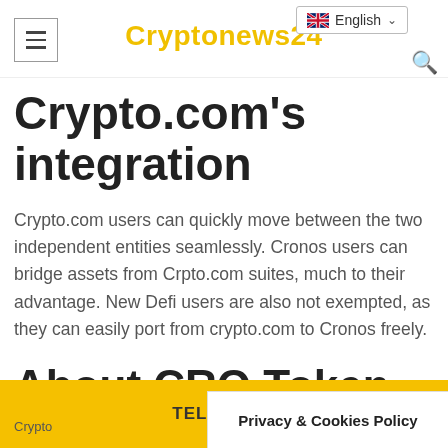Cryptonews24
Crypto.com's integration
Crypto.com users can quickly move between the two independent entities seamlessly. Cronos users can bridge assets from Crpto.com suites, much to their advantage. New Defi users are also not exempted, as they can easily port from crypto.com to Cronos freely.
About CRO Token
TELEGRAM  Crypto  Privacy & Cookies Policy